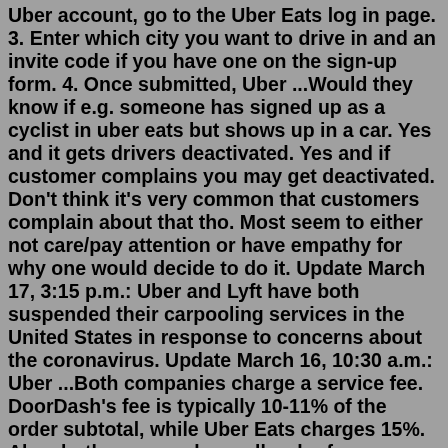Uber account, go to the Uber Eats log in page. 3. Enter which city you want to drive in and an invite code if you have one on the sign-up form. 4. Once submitted, Uber ...Would they know if e.g. someone has signed up as a cyclist in uber eats but shows up in a car. Yes and it gets drivers deactivated. Yes and if customer complains you may get deactivated. Don't think it's very common that customers complain about that tho. Most seem to either not care/pay attention or have empathy for why one would decide to do it. Update March 17, 3:15 p.m.: Uber and Lyft have both suspended their carpooling services in the United States in response to concerns about the coronavirus. Update March 16, 10:30 a.m.: Uber ...Both companies charge a service fee. DoorDash's fee is typically 10-11% of the order subtotal, while Uber Eats charges 15%. Also, both apps apply small order fees. DoorDash charges $2 if you don't make the minimum order, and Uber Eats, depending on your location, charges either $2 on orders under $10 or $3 under $15.How to use an Uber Eats gift card to pay